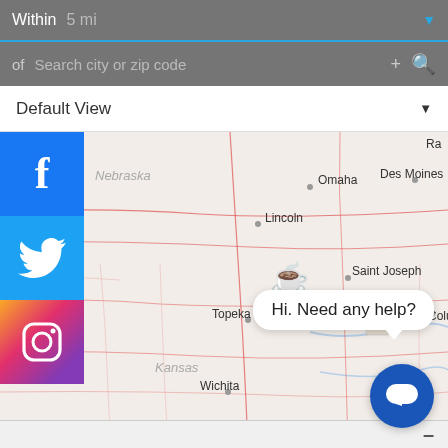Within   5 mi
of   Search city or zip code
Default View
[Figure (map): Interactive map showing US Midwest region including Nebraska, Kansas, with cities: Omaha, Des Moines, Lincoln, Saint Joseph, Topeka, Kansas City, Columbia, Wichita, Springfield. Map markers include a beer icon and a coffee cup icon. Social media buttons (Facebook, Twitter, Instagram) on the left side. Chat bubble saying 'Hi. Need any help?' with a chat button in the bottom right.]
Hi. Need any help?